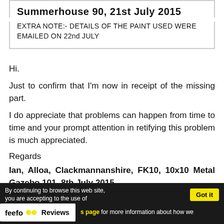Summerhouse 90, 21st July 2015
EXTRA NOTE:- DETAILS OF THE PAINT USED WERE EMAILED ON 22nd JULY
Hi.
Just to confirm that I'm now in receipt of the missing part.
I do appreciate that problems can happen from time to time and your prompt attention in retifying this problem is much appreciated.
Regards
Ian, Alloa, Clackmannanshire, FK10, 10x10 Metal Gazebo 101, 8th July 2015
By continuing to browse this web site, you are accepting the use of... [page] for more information about how we use... | feefo Reviews | Got it